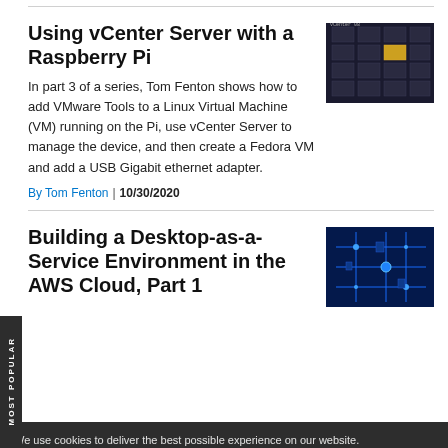Using vCenter Server with a Raspberry Pi
In part 3 of a series, Tom Fenton shows how to add VMware Tools to a Linux Virtual Machine (VM) running on the Pi, use vCenter Server to manage the device, and then create a Fedora VM and add a USB Gigabit ethernet adapter.
By Tom Fenton | 10/30/2020
[Figure (screenshot): Dark screenshot showing a grid of server/VM icons on a dark background]
Building a Desktop-as-a-Service Environment in the AWS Cloud, Part 1
[Figure (photo): Blue-tinted macro photo of circuit board with illuminated components]
We use cookies to deliver the best possible experience on our website.